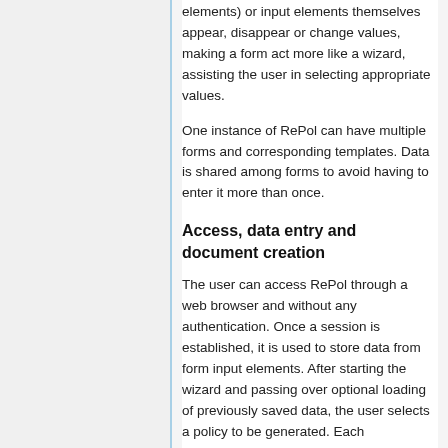elements) or input elements themselves appear, disappear or change values, making a form act more like a wizard, assisting the user in selecting appropriate values.
One instance of RePol can have multiple forms and corresponding templates. Data is shared among forms to avoid having to enter it more than once.
Access, data entry and document creation
The user can access RePol through a web browser and without any authentication. Once a session is established, it is used to store data from form input elements. After starting the wizard and passing over optional loading of previously saved data, the user selects a policy to be generated. Each